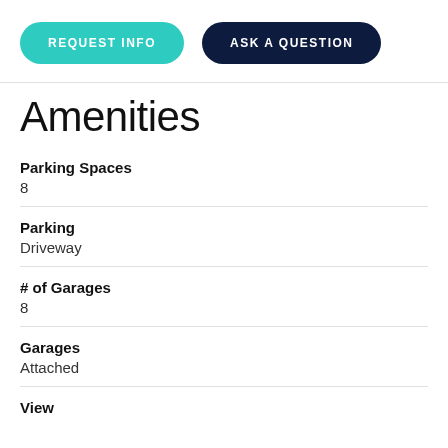[Figure (other): Two buttons: 'REQUEST INFO' (teal/cyan pill) and 'ASK A QUESTION' (dark navy pill)]
Amenities
Parking Spaces
8
Parking
Driveway
# of Garages
8
Garages
Attached
View